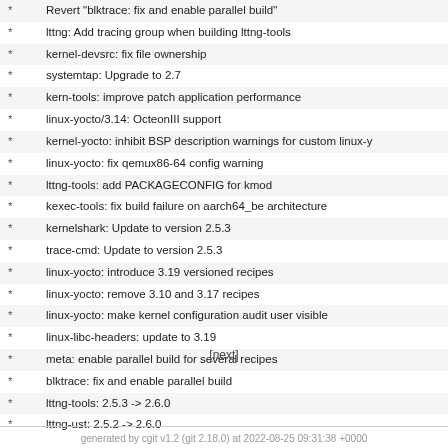* Revert "blktrace: fix and enable parallel build"
* lttng: Add tracing group when building lttng-tools
* kernel-devsrc: fix file ownership
* systemtap: Upgrade to 2.7
* kern-tools: improve patch application performance
* linux-yocto/3.14: OcteonIII support
* kernel-yocto: inhibit BSP description warnings for custom linux-y
* linux-yocto: fix qemux86-64 config warning
* lttng-tools: add PACKAGECONFIG for kmod
* kexec-tools: fix build failure on aarch64_be architecture
* kernelshark: Update to version 2.5.3
* trace-cmd: Update to version 2.5.3
* linux-yocto: introduce 3.19 versioned recipes
* linux-yocto: remove 3.10 and 3.17 recipes
* linux-yocto: make kernel configuration audit user visible
* linux-libc-headers: update to 3.19
* meta: enable parallel build for several recipes
* blktrace: fix and enable parallel build
* lttng-tools: 2.5.3 -> 2.6.0
* lttng-ust: 2.5.2 -> 2.6.0
[next]
generated by cgit v1.2 (git 2.18.0) at 2022-08-25 09:31:38 +0000